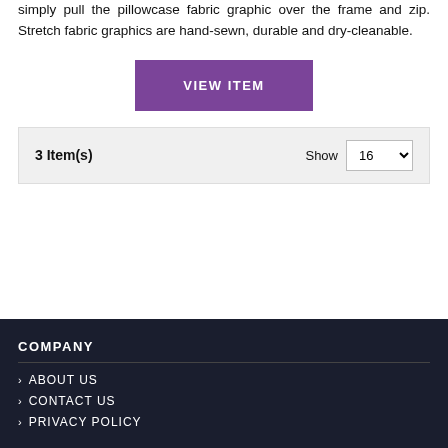simply pull the pillowcase fabric graphic over the frame and zip. Stretch fabric graphics are hand-sewn, durable and dry-cleanable.
VIEW ITEM
3 Item(s)  Show 16
COMPANY
> ABOUT US
> CONTACT US
> PRIVACY POLICY